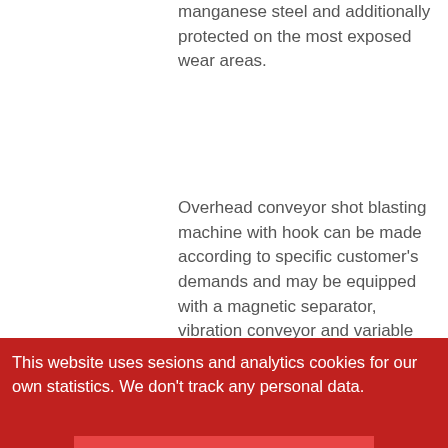manganese steel and additionally protected on the most exposed wear areas.
Overhead conveyor shot blasting machine with hook can be made according to specific customer's demands and may be equipped with a magnetic separator, vibration conveyor and variable frequency drive for blasting wheels.
All shot blasting machines produced by Gostol India are designed, fitted and manufactured by Gostol. Gostol India is a subsidiary of Gostol TST, which is a world known producer of shot blasting machines. You can check all the references here.
Gostol India shot blasting machines can
This website uses sesions and analytics cookies for our own statistics. We don't track any personal data.